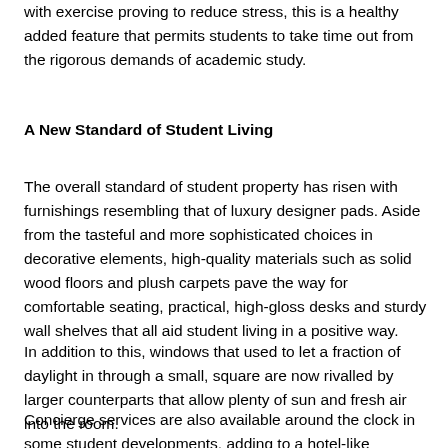with exercise proving to reduce stress, this is a healthy added feature that permits students to take time out from the rigorous demands of academic study.
A New Standard of Student Living
The overall standard of student property has risen with furnishings resembling that of luxury designer pads. Aside from the tasteful and more sophisticated choices in decorative elements, high-quality materials such as solid wood floors and plush carpets pave the way for comfortable seating, practical, high-gloss desks and sturdy wall shelves that all aid student living in a positive way.
In addition to this, windows that used to let a fraction of daylight in through a small, square are now rivalled by larger counterparts that allow plenty of sun and fresh air into the room.
Concierge services are also available around the clock in some student developments, adding to a hotel-like experience that exists